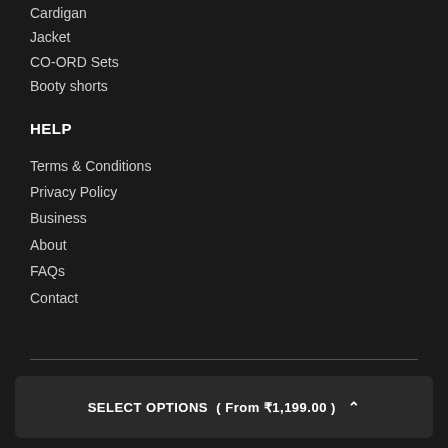Cardigan
Jacket
CO-ORD Sets
Booty shorts
HELP
Terms & Conditions
Privacy Policy
Business
About
FAQs
Contact
SELECT OPTIONS  ( From ₹1,199.00 )